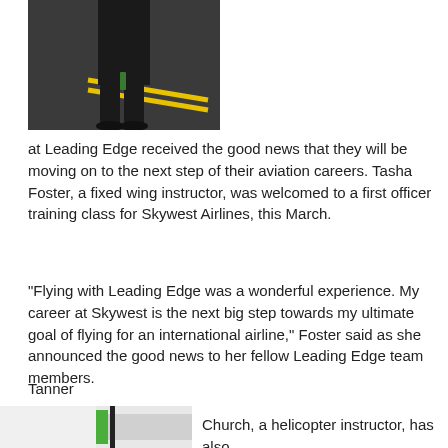[Figure (photo): Person standing outdoors on tarmac wearing dark clothing, lower body visible]
at Leading Edge received the good news that they will be moving on to the next step of their aviation careers. Tasha Foster, a fixed wing instructor, was welcomed to a first officer training class for Skywest Airlines, this March.
“Flying with Leading Edge was a wonderful experience. My career at Skywest is the next big step towards my ultimate goal of flying for an international airline,” Foster said as she announced the good news to her fellow Leading Edge team members.
Tanner
[Figure (photo): Partial view of aircraft with green stripe, helicopter instructor photo]
Church, a helicopter instructor, has also